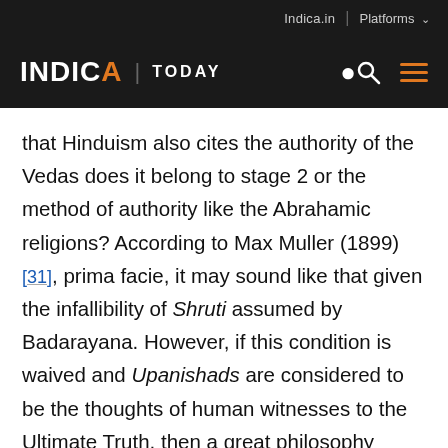INDICA | TODAY — Indica.in | Platforms
that Hinduism also cites the authority of the Vedas does it belong to stage 2 or the method of authority like the Abrahamic religions? According to Max Muller (1899)[31], prima facie, it may sound like that given the infallibility of Shruti assumed by Badarayana. However, if this condition is waived and Upanishads are considered to be the thoughts of human witnesses to the Ultimate Truth, then a great philosophy similar to that of the Greek and